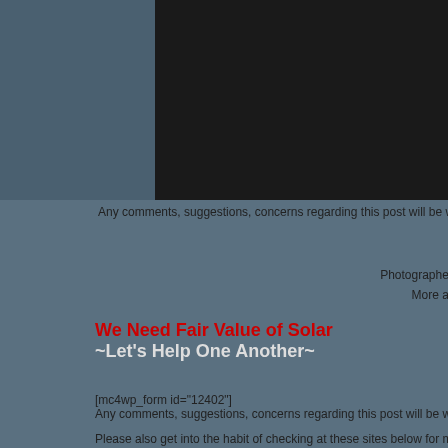[Figure (photo): Dark/black rectangular image area at top right of page]
Any comments, suggestions, concerns regarding this post will be welcomed a
Photographed, gathered, written, and posted by Winder
More about the community at www/www...
We Need Fair Value of Solar
~Let's Help One Another~
[mc4wp_form id="12402"]
Any comments, suggestions, concerns regarding this post will be welcom
Please also get into the habit of checking at these sites below for more o
www.ourisfhefuture.net
www.kiva.org/lend/ourisfhefuture
www.facebook.com/ouristhefuture
www.pinterest.com/ouristhefuture
www.youtube.com/oourisunkthefuture
www.ouisness.com/ourisfhefuture